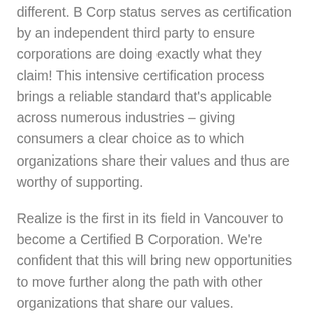different. B Corp status serves as certification by an independent third party to ensure corporations are doing exactly what they claim! This intensive certification process brings a reliable standard that's applicable across numerous industries – giving consumers a clear choice as to which organizations share their values and thus are worthy of supporting.
Realize is the first in its field in Vancouver to become a Certified B Corporation. We're confident that this will bring new opportunities to move further along the path with other organizations that share our values.